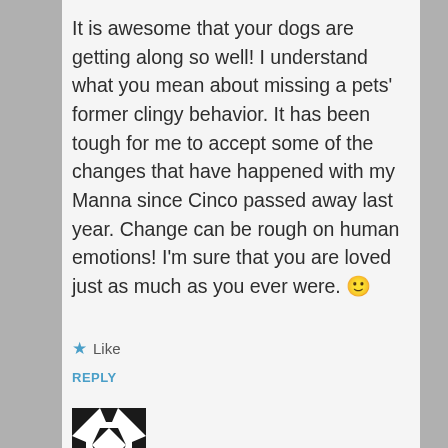It is awesome that your dogs are getting along so well! I understand what you mean about missing a pets' former clingy behavior. It has been tough for me to accept some of the changes that have happened with my Manna since Cinco passed away last year. Change can be rough on human emotions! I'm sure that you are loved just as much as you ever were. 🙂
Like
REPLY
[Figure (logo): Black and white geometric pattern avatar/logo with diagonal shapes forming a square design]